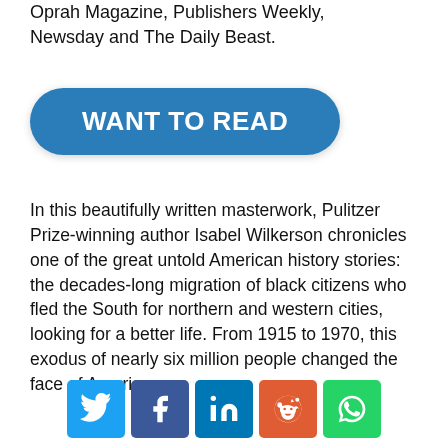Oprah Magazine, Publishers Weekly, Newsday and The Daily Beast.
[Figure (other): Blue rounded-rectangle button with white bold text reading WANT TO READ]
In this beautifully written masterwork, Pulitzer Prize-winning author Isabel Wilkerson chronicles one of the great untold American history stories: the decades-long migration of black citizens who fled the South for northern and western cities, looking for a better life. From 1915 to 1970, this exodus of nearly six million people changed the face of America.
[Figure (other): Row of five social media share buttons: Twitter (blue bird), Facebook (blue f), LinkedIn (blue in), Reddit (orange alien), WhatsApp (green phone)]